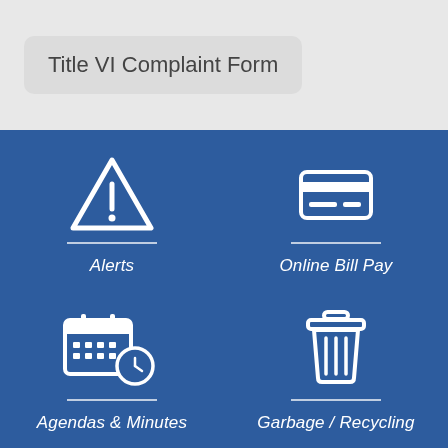Title VI Complaint Form
[Figure (infographic): Four navigation icons on blue background: Alerts (warning triangle with exclamation), Online Bill Pay (credit card), Agendas & Minutes (calendar with clock), Garbage / Recycling (trash can)]